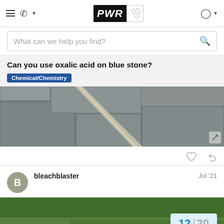PWR — navigation header with hamburger, phone, logo, user icon
What can we help you find?
Can you use oxalic acid on blue stone?
Chemical/Chemistry
[Figure (photo): Photo of blue stone patio/walkway pavers with a crack or joint filled with lighter material]
[Figure (photo): Photo of green grass lawn, with a pagination badge showing 12/20]
bleachblaster
Jul '21